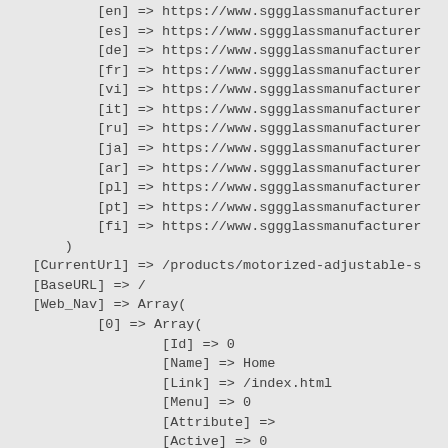[en] => https://www.sggglassmanufacturer
            [es] => https://www.sggglassmanufacturer
            [de] => https://www.sggglassmanufacturer
            [fr] => https://www.sggglassmanufacturer
            [vi] => https://www.sggglassmanufacturer
            [it] => https://www.sggglassmanufacturer
            [ru] => https://www.sggglassmanufacturer
            [ja] => https://www.sggglassmanufacturer
            [ar] => https://www.sggglassmanufacturer
            [pl] => https://www.sggglassmanufacturer
            [pt] => https://www.sggglassmanufacturer
            [fi] => https://www.sggglassmanufacturer
        )
    [CurrentUrl] => /products/motorized-adjustable-s
    [BaseURL] => /
    [Web_Nav] => Array(
            [0] => Array(
                    [Id] => 0
                    [Name] => Home
                    [Link] => /index.html
                    [Menu] => 0
                    [Attribute] =>
                    [Active] => 0
                    [SubNav] =>